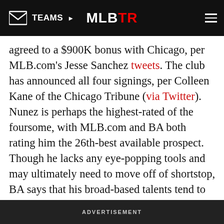TEAMS | MLBTR
agreed to a $900K bonus with Chicago, per MLB.com's Jesse Sanchez tweets. The club has announced all four signings, per Colleen Kane of the Chicago Tribune (via Twitter). Nunez is perhaps the highest-rated of the foursome, with MLB.com and BA both rating him the 26th-best available prospect. Though he lacks any eye-popping tools and may ultimately need to move off of shortstop, BA says that his broad-based talents tend to show up in game action.
The Yankees have agreed to a $750K bonus with shortstop Diego Castillo, tweets MLB.com's Jesse Sanchez. The highly-rated Venezuelan prospect (16th by MLB.com, 24th by BA) is small in stature but
ADVERTISEMENT